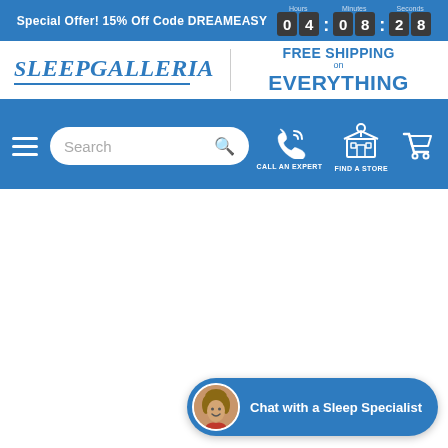Special Offer! 15% Off Code DREAMEASY  0 4 : 0 8 : 2 8
[Figure (logo): Sleep Galleria logo with italic blue text and underline]
FREE SHIPPING on EVERYTHING
[Figure (screenshot): Navigation bar with hamburger menu, search bar, call an expert phone icon, find a store building icon, and shopping cart icon]
[Figure (infographic): Chat with a Sleep Specialist button with avatar photo at bottom right]